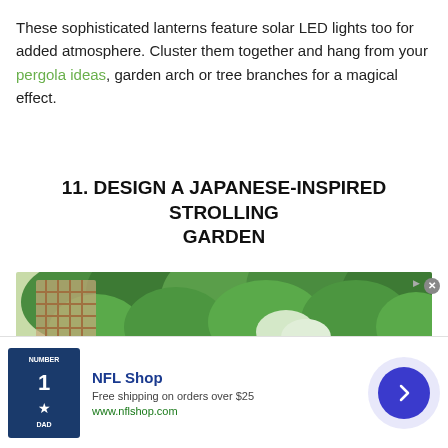These sophisticated lanterns feature solar LED lights too for added atmosphere. Cluster them together and hang from your pergola ideas, garden arch or tree branches for a magical effect.
11. DESIGN A JAPANESE-INSPIRED STROLLING GARDEN
[Figure (photo): A Japanese-inspired strolling garden with lush green trees, a wooden bench, and a latticed structure visible in the background.]
[Figure (infographic): NFL Shop advertisement banner with a Dallas Cowboys jersey image, text 'NFL Shop', 'Free shipping on orders over $25', 'www.nflshop.com', and a blue circular arrow button.]